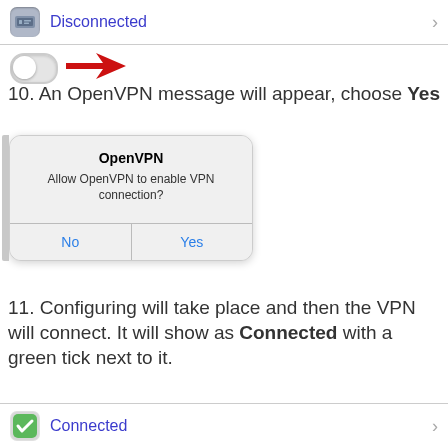[Figure (screenshot): iOS settings row showing VPN icon with 'Disconnected' label and chevron, followed by a toggle switch in OFF position with a red arrow pointing to it]
10. An OpenVPN message will appear, choose Yes
[Figure (screenshot): iOS dialog box: 'OpenVPN' title, message 'Allow OpenVPN to enable VPN connection?', with No and Yes buttons]
11. Configuring will take place and then the VPN will connect. It will show as Connected with a green tick next to it.
[Figure (screenshot): iOS settings row showing VPN icon with 'Connected' label in blue and chevron arrow]